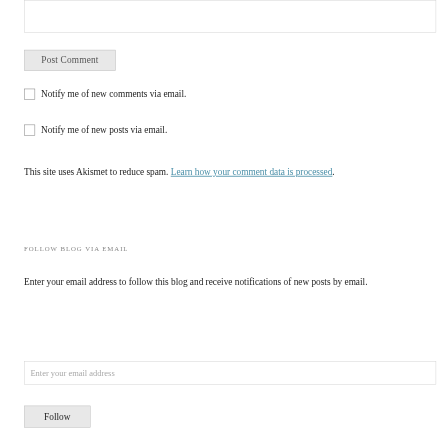[Figure (screenshot): Empty textarea input box at top of page]
Post Comment
Notify me of new comments via email.
Notify me of new posts via email.
This site uses Akismet to reduce spam. Learn how your comment data is processed.
FOLLOW BLOG VIA EMAIL
Enter your email address to follow this blog and receive notifications of new posts by email.
[Figure (screenshot): Email address input field with placeholder text 'Enter your email address']
Follow